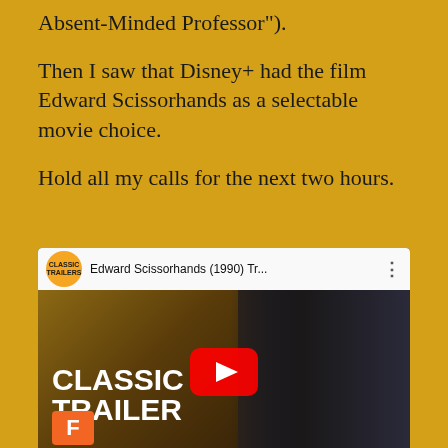Absent-Minded Professor").
Then I saw that Disney+ had the film Edward Scissorhands as a selectable movie choice.
Hold all my calls for the next two hours.
[Figure (screenshot): YouTube video thumbnail for 'Edward Scissorhands (1990) Tr...' from Classic Trailers channel, showing a dog and Edward Scissorhands character with a YouTube play button overlay, and a Fandango logo. Text reads 'CLASSIC TRAILER' in large bold white letters.]